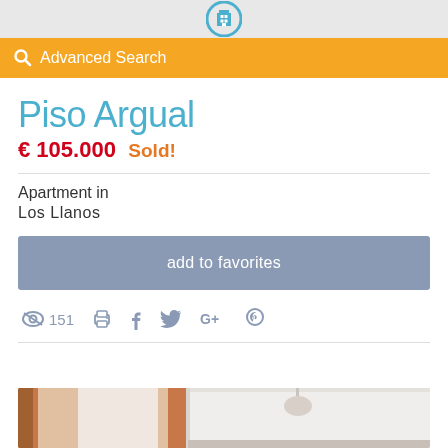[building icon]
Advanced Search
Piso Argual
€ 105.000 Sold!
Apartment in
Los Llanos
add to favorites
151
[Figure (photo): Interior room photo showing a bedroom or living area with white walls, a door frame, and a ceiling lamp]